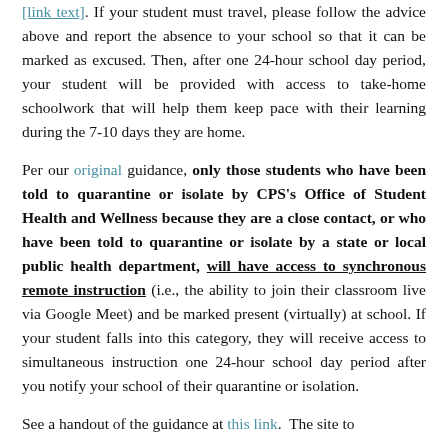[link text cut off at top]. If your student must travel, please follow the advice above and report the absence to your school so that it can be marked as excused. Then, after one 24-hour school day period, your student will be provided with access to take-home schoolwork that will help them keep pace with their learning during the 7-10 days they are home.
Per our original guidance, only those students who have been told to quarantine or isolate by CPS's Office of Student Health and Wellness because they are a close contact, or who have been told to quarantine or isolate by a state or local public health department, will have access to synchronous remote instruction (i.e., the ability to join their classroom live via Google Meet) and be marked present (virtually) at school. If your student falls into this category, they will receive access to simultaneous instruction one 24-hour school day period after you notify your school of their quarantine or isolation.
See a handout of the guidance at this link.  The site to